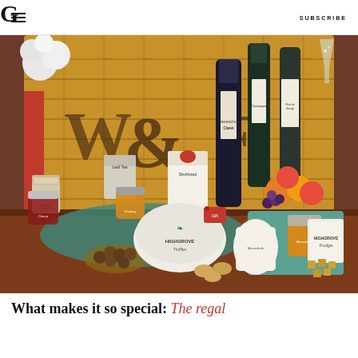G | SUBSCRIBE
[Figure (photo): Highgrove hamper gift basket displayed on a wooden table, filled with Highgrove-branded products including wine bottles (Champagne, Claret, Fleur de George), jars of jam, truffles, shortbread, fudge, biscuits, fruits, and tea, arranged in front of a wicker basket.]
What makes it so special: The regal